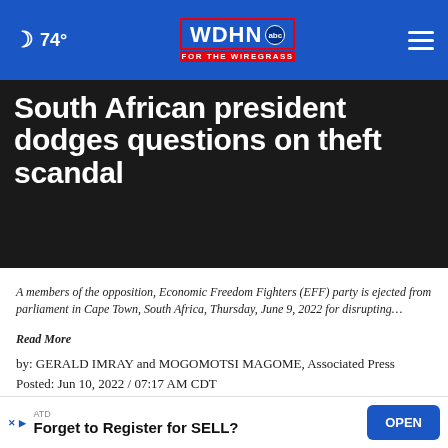74° WDHN ABC FOR THE WIREGRASS
South African president dodges questions on theft scandal
A members of the opposition, Economic Freedom Fighters (EFF) party is ejected from parliament in Cape Town, South Africa, Thursday, June 9, 2022 for disrupting…
Read More
by: GERALD IMRAY and MOGOMOTSI MAGOME, Associated Press
Posted: Jun 10, 2022 / 07:17 AM CDT
Updated: Jun 10, 2022 / 12:26 PM CDT
SHARE
ATD
Forget to Register for SELL?
OPEN
CAPE TOWN, South Africa (AP) — Embroiled in